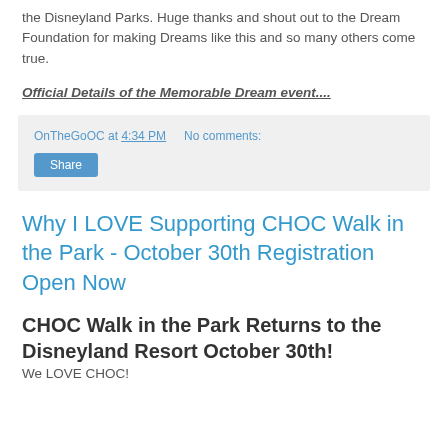the Disneyland Parks. Huge thanks and shout out to the Dream Foundation for making Dreams like this and so many others come true.
Official Details of the Memorable Dream event....
OnTheGoOC at 4:34 PM   No comments:
Share
Why I LOVE Supporting CHOC Walk in the Park - October 30th Registration Open Now
CHOC Walk in the Park Returns to the Disneyland Resort October 30th!
We LOVE CHOC!